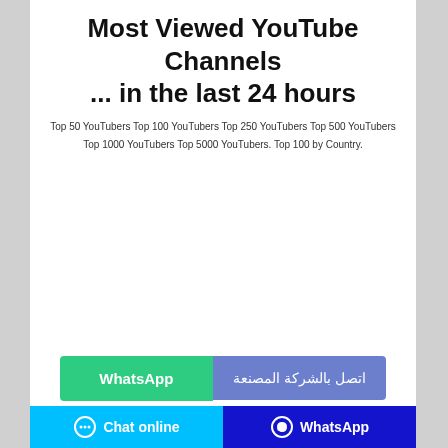Most Viewed YouTube Channels ... in the last 24 hours
Top 50 YouTubers Top 100 YouTubers Top 250 YouTubers Top 500 YouTubers Top 1000 YouTubers Top 5000 YouTubers. Top 100 by Country.
[Figure (other): Advertisement area (blank white space)]
WhatsApp  اتصل بالشركة المصنعة
[Figure (other): Two product boxes: blue box labeled 320mg and purple box labeled 280mg]
Chat online   WhatsApp